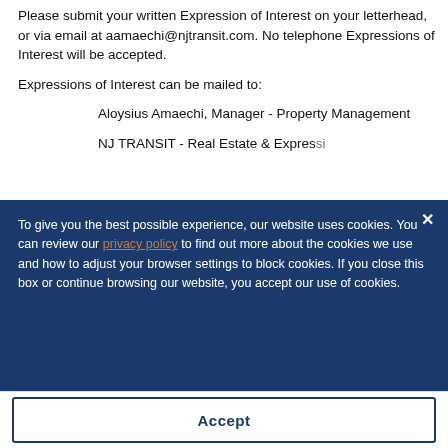Please submit your written Expression of Interest on your letterhead, or via email at aamaechi@njtransit.com. No telephone Expressions of Interest will be accepted.
Expressions of Interest can be mailed to:
Aloysius Amaechi, Manager - Property Management
NJ TRANSIT - Real Estate & Express...
To give you the best possible experience, our website uses cookies. You can review our privacy policy to find out more about the cookies we use and how to adjust your browser settings to block cookies. If you close this box or continue browsing our website, you accept our use of cookies.
Accept